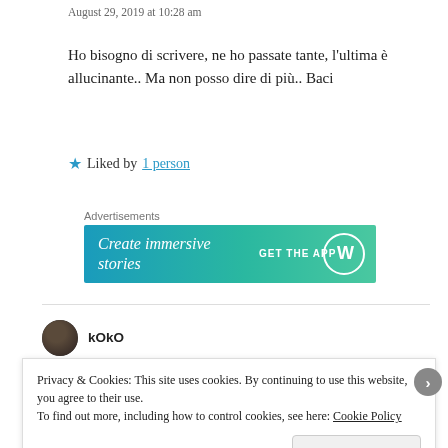August 29, 2019 at 10:28 am
Ho bisogno di scrivere, ne ho passate tante, l'ultima è allucinante.. Ma non posso dire di più.. Baci
★ Liked by 1 person
Advertisements
[Figure (screenshot): WordPress advertisement banner showing 'Create immersive stories' with 'GET THE APP' and WordPress logo on a blue-green gradient background]
kOkO
Privacy & Cookies: This site uses cookies. By continuing to use this website, you agree to their use. To find out more, including how to control cookies, see here: Cookie Policy
Close and accept